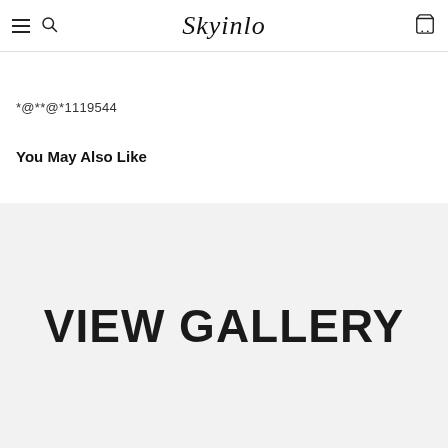Skyinlo
*@**@*1119544
You May Also Like
VIEW GALLERY